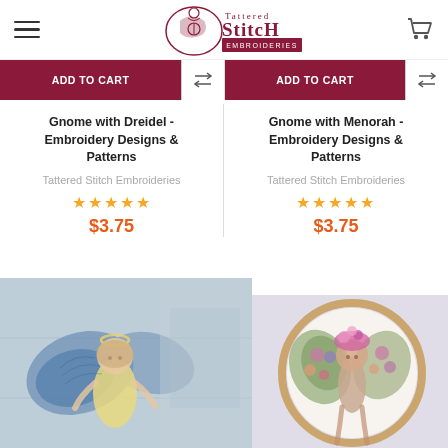Tattered Stitch Embroideries
ADD TO CART
ADD TO CART
Gnome with Dreidel - Embroidery Designs & Patterns
Tattered Stitch Embroideries
★★★★★
$3.75
Gnome with Menorah - Embroidery Designs & Patterns
Tattered Stitch Embroideries
★★★★★
$3.75
[Figure (photo): Embroidery of a fairy/angel figure with blue wings and a yellow dress]
[Figure (photo): Embroidery of a floral heart butterfly figure in a wooden hoop]